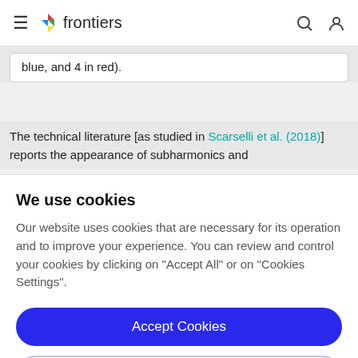frontiers
blue, and 4 in red).
The technical literature [as studied in Scarselli et al. (2018)] reports the appearance of subharmonics and
We use cookies
Our website uses cookies that are necessary for its operation and to improve your experience. You can review and control your cookies by clicking on "Accept All" or on "Cookies Settings".
Accept Cookies
Cookies Settings